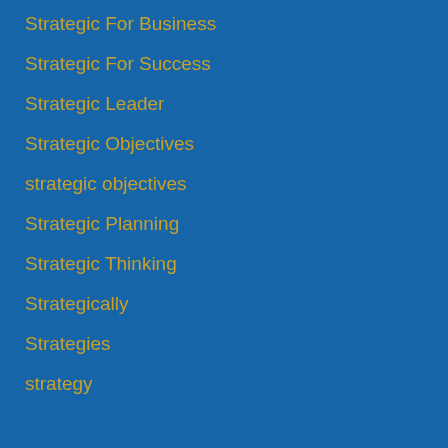Strategic For Business
Strategic For Success
Strategic Leader
Strategic Objectives
strategic objectives
Strategic Planning
Strategic Thinking
Strategically
Strategies
strategy